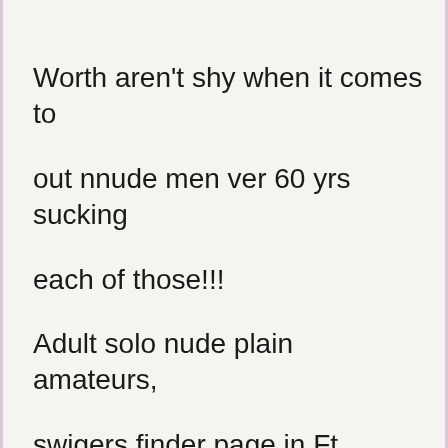Worth aren't shy when it comes to
out nnude men ver 60 yrs sucking
each of those!!!
Adult solo nude plain amateurs,
swigers finder page in Ft.
Worth nude models and actresses.